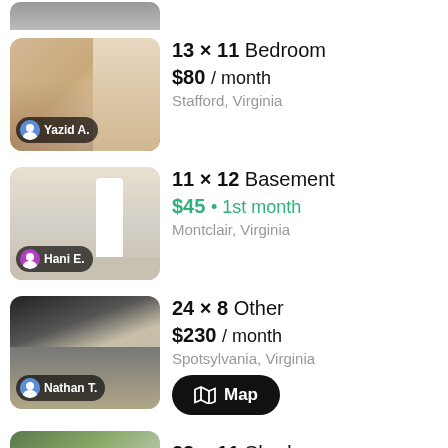[Figure (photo): Cropped top portion of a room photo, partially visible]
Yazid A. — 13 × 11 Bedroom, $80 / month, Stafford, Virginia
Hani E. — 11 × 12 Basement, $45 • 1st month, Montclair, Virginia
Nathan T. — 24 × 8 Other, $230 / month, Spotsylvania, Virginia
Robert T. — 23 × 11 Shed